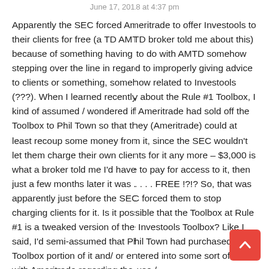June 17, 2018 at 4:37 pm
Apparently the SEC forced Ameritrade to offer Investools to their clients for free (a TD AMTD broker told me about this) because of something having to do with AMTD somehow stepping over the line in regard to improperly giving advice to clients or something, somehow related to Investools (???). When I learned recently about the Rule #1 Toolbox, I kind of assumed / wondered if Ameritrade had sold off the Toolbox to Phil Town so that they (Ameritrade) could at least recoup some money from it, since the SEC wouldn't let them charge their own clients for it any more – $3,000 is what a broker told me I'd have to pay for access to it, then just a few months later it was . . . . FREE !?!? So, that was apparently just before the SEC forced them to stop charging clients for it. Is it possible that the Toolbox at Rule #1 is a tweaked version of the Investools Toolbox? Like I said, I'd semi-assumed that Phil Town had purchased the Toolbox portion of it and/ or entered into some sort of deal with Ameritrade regarding the use /